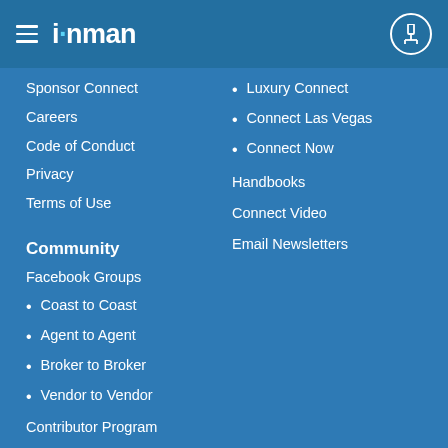inman
Sponsor Connect
Careers
Code of Conduct
Privacy
Terms of Use
Luxury Connect
Connect Las Vegas
Connect Now
Handbooks
Connect Video
Email Newsletters
Community
Facebook Groups
Coast to Coast
Agent to Agent
Broker to Broker
Vendor to Vendor
Contributor Program
Image Submissions